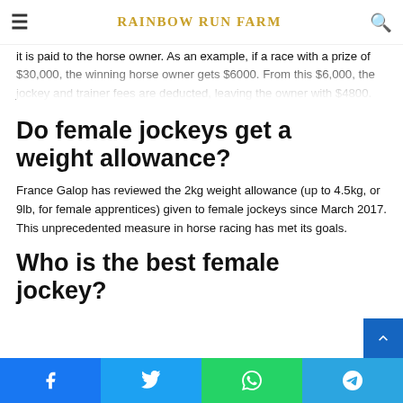RAINBOW RUN FARM
it is paid to the horse owner. As an example, if a race with a prize of $30,000, the winning horse owner gets $6000. From this $6,000, the jockey and trainer fees are deducted, leaving the owner with $4800.
Do female jockeys get a weight allowance?
France Galop has reviewed the 2kg weight allowance (up to 4.5kg, or 9lb, for female apprentices) given to female jockeys since March 2017. This unprecedented measure in horse racing has met its goals.
Who is the best female jockey?
Facebook | Twitter | WhatsApp | Telegram